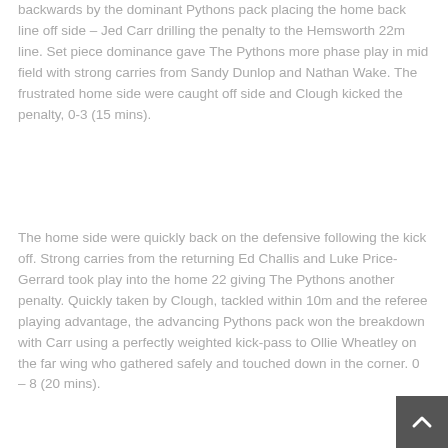backwards by the dominant Pythons pack placing the home back line off side – Jed Carr drilling the penalty to the Hemsworth 22m line. Set piece dominance gave The Pythons more phase play in mid field with strong carries from Sandy Dunlop and Nathan Wake. The frustrated home side were caught off side and Clough kicked the penalty, 0-3 (15 mins).
The home side were quickly back on the defensive following the kick off. Strong carries from the returning Ed Challis and Luke Price-Gerrard took play into the home 22 giving The Pythons another penalty. Quickly taken by Clough, tackled within 10m and the referee playing advantage, the advancing Pythons pack won the breakdown with Carr using a perfectly weighted kick-pass to Ollie Wheatley on the far wing who gathered safely and touched down in the corner. 0 – 8 (20 mins).